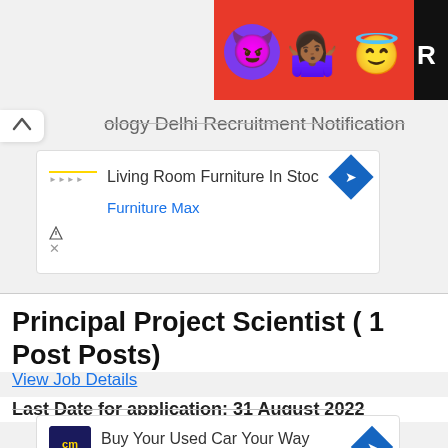[Figure (illustration): Advertisement banner with emoji characters (devil, person, angel smiley) on red background with partial 'R' letter cutoff]
ology Delhi Recruitment Notification
[Figure (screenshot): Advertisement box: Living Room Furniture In Stoc - Furniture Max with blue diamond arrow icon]
Principal Project Scientist ( 1 Post Posts)
View Job Details
Last Date for application: 31 August 2022
[Figure (screenshot): Advertisement box: Buy Your Used Car Your Way - CarMax with CM logo and blue diamond arrow icon]